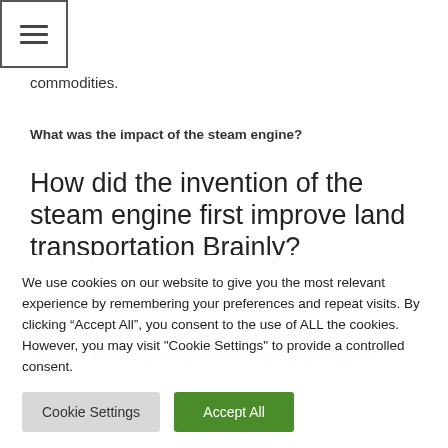[Figure (other): Hamburger menu icon button with three horizontal lines inside a square border]
commodities.
What was the impact of the steam engine?
How did the invention of the steam engine first improve land transportation Brainly?
Answer: The steam engine allowed transportation
We use cookies on our website to give you the most relevant experience by remembering your preferences and repeat visits. By clicking “Accept All”, you consent to the use of ALL the cookies. However, you may visit "Cookie Settings" to provide a controlled consent.
Cookie Settings | Accept All